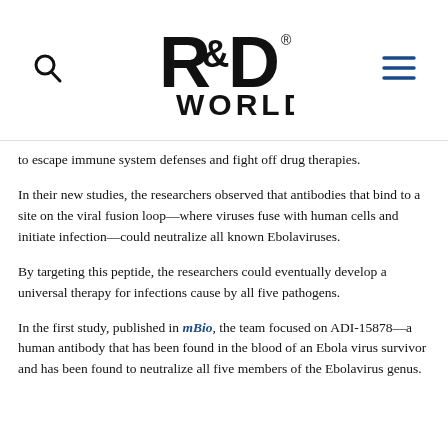R&D WORLD
to escape immune system defenses and fight off drug therapies.
In their new studies, the researchers observed that antibodies that bind to a site on the viral fusion loop—where viruses fuse with human cells and initiate infection—could neutralize all known Ebolaviruses.
By targeting this peptide, the researchers could eventually develop a universal therapy for infections cause by all five pathogens.
In the first study, published in mBio, the team focused on ADI-15878—a human antibody that has been found in the blood of an Ebola virus survivor and has been found to neutralize all five members of the Ebolavirus genus.